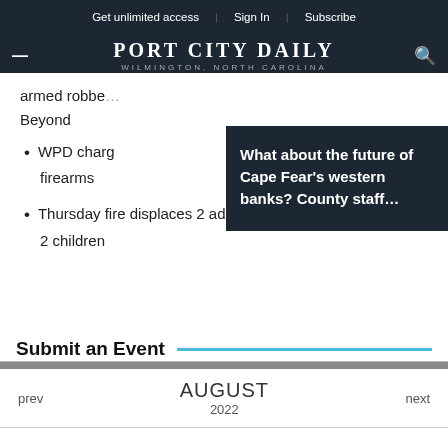Get unlimited access | Sign In | Subscribe
PORT CITY DAILY — WILMINGTON, NORTH CAROLINA
armed robbe...
Beyond
What about the future of Cape Fear's western banks? County staff...
WPD charg... firearms
Thursday fire displaces 2 adults, 2 children
Submit an Event
| prev | AUGUST 2022 | next |
| --- | --- | --- |